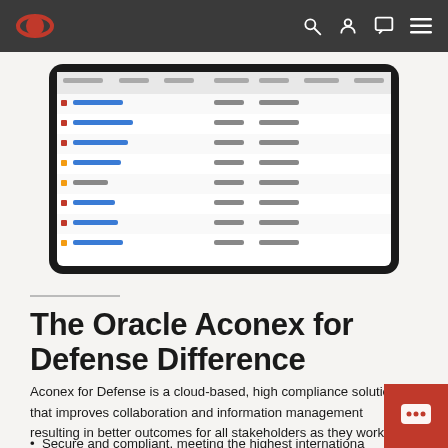Oracle Aconex navigation bar with logo and icons
[Figure (screenshot): Screenshot of Oracle Aconex for Defense application showing a document management table with columns for document number, status, recipient, and dates, displayed on a tablet-like frame]
The Oracle Aconex for Defense Difference
Aconex for Defense is a cloud-based, high compliance solution that improves collaboration and information management resulting in better outcomes for all stakeholders as they work together to deliver vital projects:
Secure and compliant, meeting the highest international...